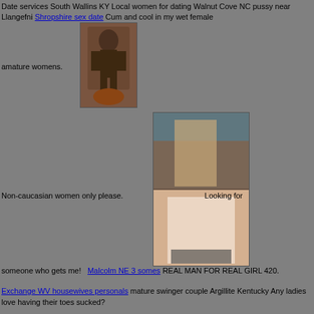Date services South Wallins KY Local women for dating Walnut Cove NC pussy near Llangefni Shropshire sex date Cum and cool in my wet female amature womens.
[Figure (photo): Fantasy art illustration of a dark armored figure standing over a creature]
[Figure (photo): Two photographs of people, faces obscured/cropped]
Non-caucasian women only please.   Looking for someone who gets me!   Malcolm NE 3 somes REAL MAN FOR REAL GIRL 420.
Exchange WV housewives personals mature swinger couple Argillite Kentucky Any ladies love having their toes sucked?